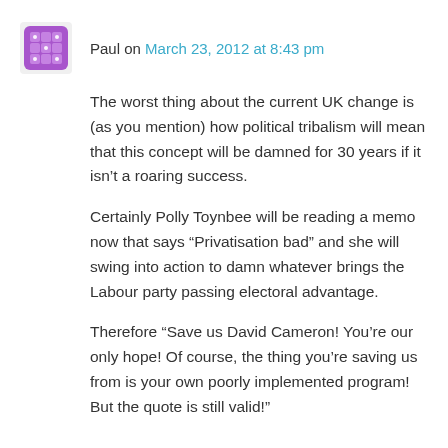Paul on March 23, 2012 at 8:43 pm
The worst thing about the current UK change is (as you mention) how political tribalism will mean that this concept will be damned for 30 years if it isn't a roaring success.
Certainly Polly Toynbee will be reading a memo now that says “Privatisation bad” and she will swing into action to damn whatever brings the Labour party passing electoral advantage.
Therefore “Save us David Cameron! You’re our only hope! Of course, the thing you’re saving us from is your own poorly implemented program! But the quote is still valid!”